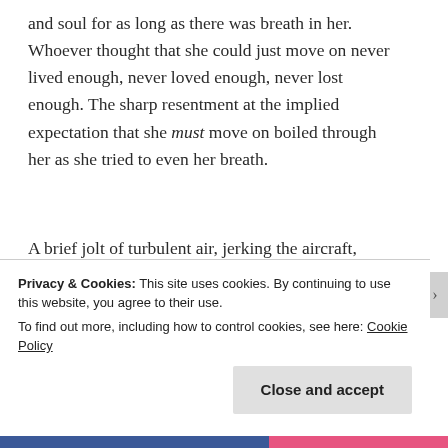and soul for as long as there was breath in her. Whoever thought that she could just move on never lived enough, never loved enough, never lost enough. The sharp resentment at the implied expectation that she must move on boiled through her as she tried to even her breath.
A brief jolt of turbulent air, jerking the aircraft, brought her back to her seat, she opened her eyes,
Privacy & Cookies: This site uses cookies. By continuing to use this website, you agree to their use.
To find out more, including how to control cookies, see here: Cookie Policy
Close and accept